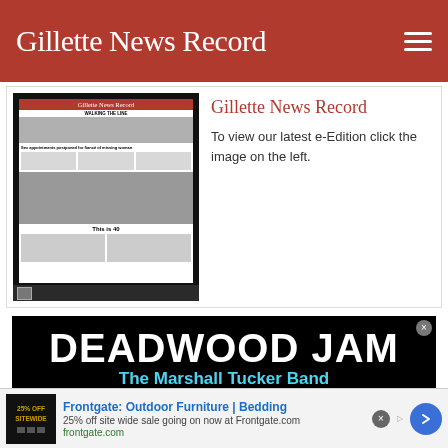Gillette News Record
[Figure (screenshot): Thumbnail of Gillette News Record newspaper front page with masthead, headline about 'sex appointments postponed for fiance of missing woman', photo of people walking, and 'This is 40' section]
Gillette News Record
To view our latest e-Edition click the image on the left.
[Figure (screenshot): Advertisement for Deadwood Jam featuring The Marshall Tucker Band, ZZ Ward & More! on black background]
[Figure (screenshot): Frontgate: Outdoor Furniture | Bedding advertisement. 25% off site wide sale going on now at Frontgate.com. frontgate.com]